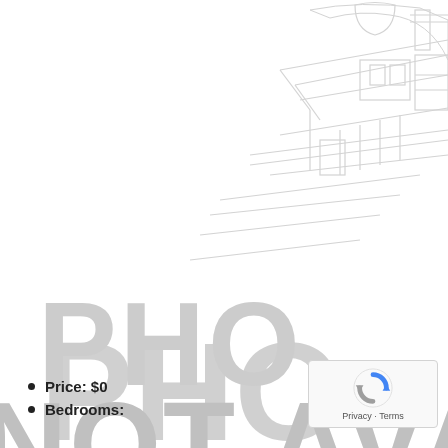[Figure (illustration): Placeholder image showing a light gray architectural house line drawing in the upper right, with large gray watermark text reading 'PHOTO NOT AVAILABLE' across the center.]
Price: $0
Bedrooms: